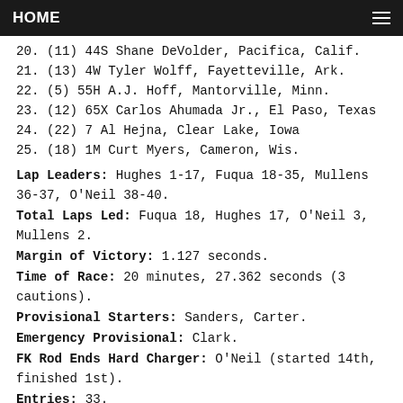HOME
20. (11) 44S Shane DeVolder, Pacifica, Calif.
21. (13) 4W Tyler Wolff, Fayetteville, Ark.
22. (5) 55H A.J. Hoff, Mantorville, Minn.
23. (12) 65X Carlos Ahumada Jr., El Paso, Texas
24. (22) 7 Al Hejna, Clear Lake, Iowa
25. (18) 1M Curt Myers, Cameron, Wis.
Lap Leaders: Hughes 1-17, Fuqua 18-35, Mullens 36-37, O'Neil 38-40.
Total Laps Led: Fuqua 18, Hughes 17, O'Neil 3, Mullens 2.
Margin of Victory: 1.127 seconds.
Time of Race: 20 minutes, 27.362 seconds (3 cautions).
Provisional Starters: Sanders, Carter.
Emergency Provisional: Clark.
FK Rod Ends Hard Charger: O'Neil (started 14th, finished 1st).
Entries: 33.
Next Race: Monday, May 30, Mason City Motor Speedway, Mason City, Iowa.
Summit USMTS National Championship Points: TBD.
Grant Junghans USMTS Rookie of the Year Points: TBD.